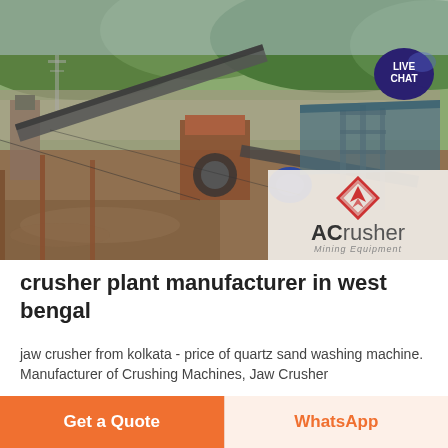[Figure (photo): Aerial view of a crusher/mining plant along a river with conveyor belts, machinery, and industrial equipment. Overlaid with ACrusher Mining Equipment logo in bottom-right corner and a Live Chat bubble in top-right.]
crusher plant manufacturer in west bengal
jaw crusher from kolkata - price of quartz sand washing machine. Manufacturer of Crushing Machines, Jaw Crusher
Get a Quote
WhatsApp